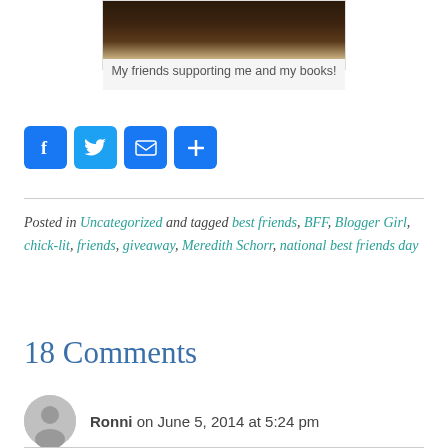[Figure (photo): A dark brown colored photo showing books or objects on a surface]
My friends supporting me and my books!
[Figure (infographic): Social share buttons: Facebook, Twitter, Email, Share (plus icon)]
Posted in Uncategorized and tagged best friends, BFF, Blogger Girl, chick-lit, friends, giveaway, Meredith Schorr, national best friends day
18 Comments
Ronni on June 5, 2014 at 5:24 pm